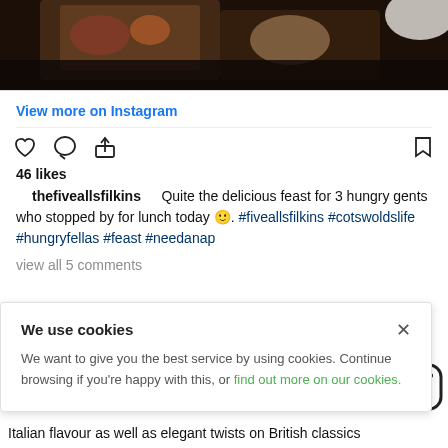[Figure (photo): Top portion of an Instagram post showing food on wooden boards on a dark surface]
View more on Instagram
46 likes
thefiveallsfilkins
Quite the delicious feast for 3 hungry gents who stopped by for lunch today 🙂. #fiveallsfilkins #cotswoldslife #hungryfellas #feast #needanap
view all 5 comments
We use cookies
We want to give you the best service by using cookies. Continue browsing if you're happy with this, or find out more on our cookies.
Italian flavour as well as elegant twists on British classics